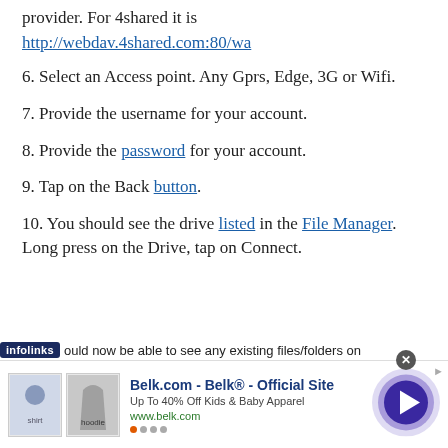provider. For 4shared it is http://webdav.4shared.com:80/wa
6. Select an Access point. Any Gprs, Edge, 3G or Wifi.
7. Provide the username for your account.
8. Provide the password for your account.
9. Tap on the Back button.
10. You should see the drive listed in the File Manager. Long press on the Drive, tap on Connect.
...ould now be able to see any existing files/folders on
[Figure (other): Infolinks advertisement banner for Belk.com showing kids apparel with close button and navigation arrow]